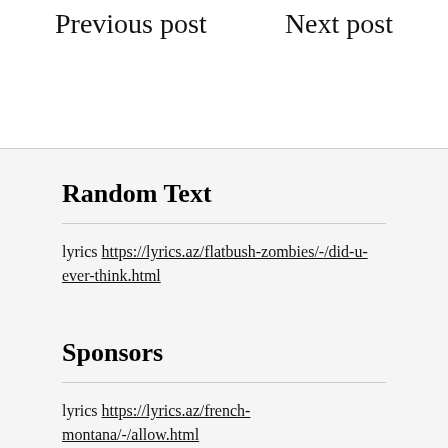Previous post    Next post
Random Text
lyrics https://lyrics.az/flatbush-zombies/-/did-u-ever-think.html
Sponsors
lyrics https://lyrics.az/french-montana/-/allow.html